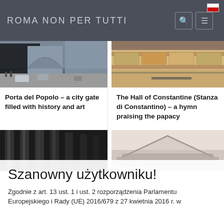ROMA NON PER TUTTI
[Figure (photo): Street scene in Rome with archway and cars]
[Figure (photo): Hall of Constantine mosaic/fresco detail]
Porta del Popolo – a city gate filled with history and art
The Hall of Constantine (Stanza di Constantino) – a hymn praising the papacy
[Figure (photo): Ancient Roman columns close-up]
[Figure (photo): Classical architectural pediment detail]
Szanowny użytkowniku!
Zgodnie z art. 13 ust. 1 i ust. 2 rozporządzenia Parlamentu Europejskiego i Rady (UE) 2016/679 z 27 kwietnia 2016 r. w